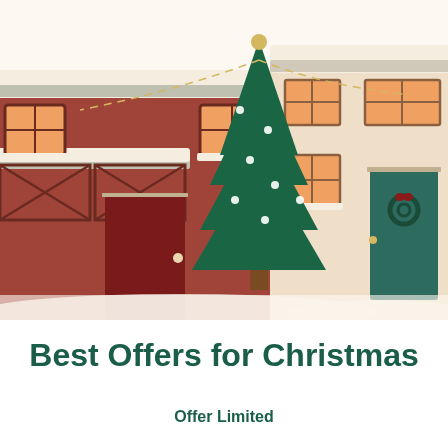[Figure (illustration): Christmas winter scene illustration showing two buildings with snow on rooftops. Left building is a dark reddish-brown wooden structure with windows, a dark door, and decorative X-pattern railings on the balcony. Center features a Christmas tree with string lights. Right building is a light beige/cream colored house with windows, a teal/dark door with a wreath. Snow covers the ground and rooftops. Warm cozy atmosphere with orange glowing windows.]
Best Offers for Christmas
Offer Limited